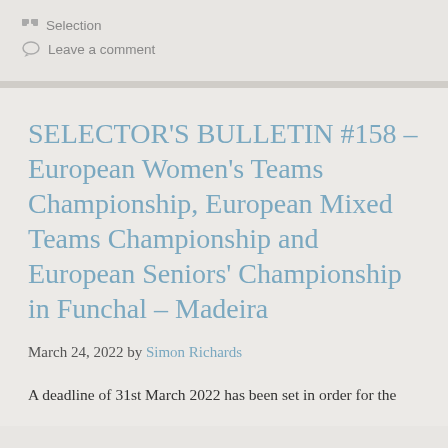Selection
Leave a comment
SELECTOR'S BULLETIN #158 – European Women's Teams Championship, European Mixed Teams Championship and European Seniors' Championship in Funchal – Madeira
March 24, 2022 by Simon Richards
A deadline of 31st March 2022 has been set in order for the